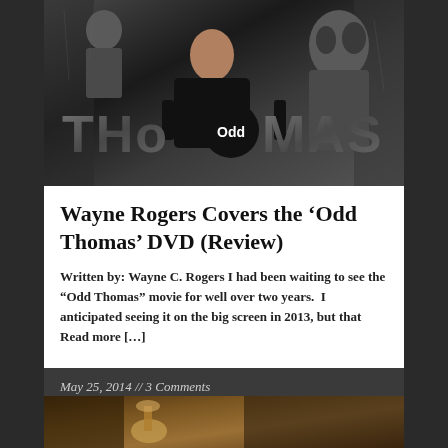[Figure (photo): Movie poster for 'Odd Thomas' showing a young man in a black t-shirt with the title 'Odd Thomas' in large stone-textured letters and a dark creature/monster figure behind him]
Wayne Rogers Covers the ‘Odd Thomas’ DVD (Review)
Written by: Wayne C. Rogers I had been waiting to see the “Odd Thomas” movie for well over two years.  I anticipated seeing it on the big screen in 2013, but that Read more […]
May 25, 2014 // 3 Comments
[Figure (photo): Partial view of a second article's image showing dark warm-toned scene, possibly an antique or dramatic setting]